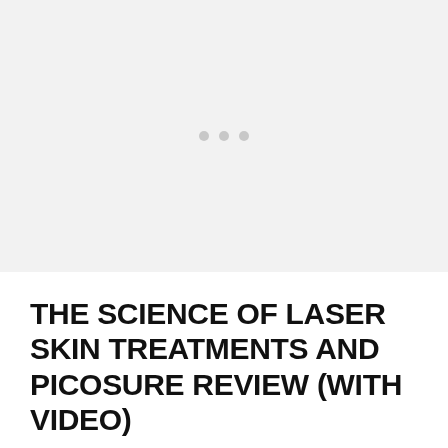[Figure (other): Light gray placeholder image area with three small gray dots centered, indicating a loading or placeholder video/image thumbnail]
THE SCIENCE OF LASER SKIN TREATMENTS AND PICOSURE REVIEW (WITH VIDEO)
August 12, 2022